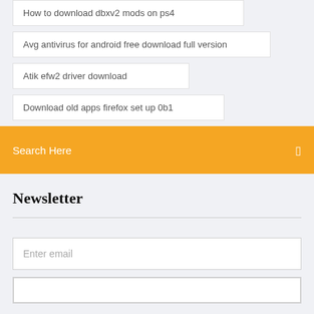How to download dbxv2 mods on ps4
Avg antivirus for android free download full version
Atik efw2 driver download
Download old apps firefox set up 0b1
Search Here
Newsletter
Enter email